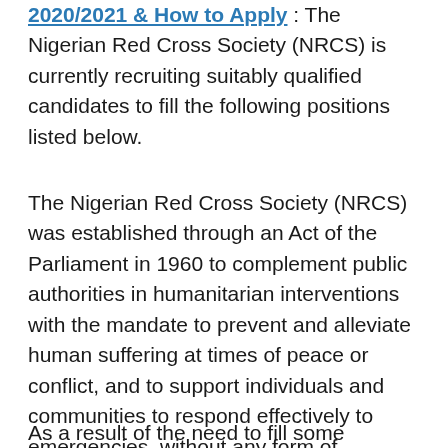2020/2021 & How to Apply : The Nigerian Red Cross Society (NRCS) is currently recruiting suitably qualified candidates to fill the following positions listed below.
The Nigerian Red Cross Society (NRCS) was established through an Act of the Parliament in 1960 to complement public authorities in humanitarian interventions with the mandate to prevent and alleviate human suffering at times of peace or conflict, and to support individuals and communities to respond effectively to emergencies, without any form of discrimination as to class, gender, race, political opinions or religion.
As a result of the need to fill some consequential